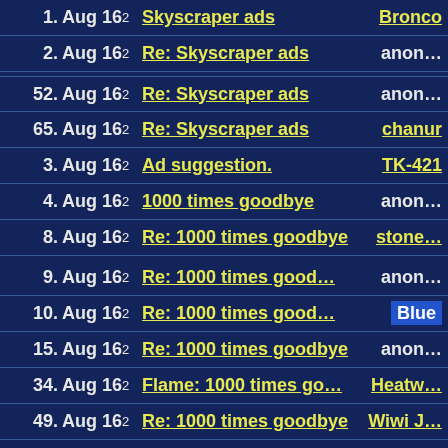1. Aug 16 2 Skyscraper ads Bronco
2. Aug 16 2 Re: Skyscraper ads anon...
52. Aug 16 2 Re: Skyscraper ads anon...
65. Aug 16 2 Re: Skyscraper ads chanur
3. Aug 16 2 Ad suggestion. TK-421
4. Aug 16 2 1000 times goodbye anon...
8. Aug 16 2 Re: 1000 times goodbye stone...
9. Aug 16 2 Re: 1000 times good... anon...
10. Aug 16 2 Re: 1000 times good... Blue
15. Aug 16 2 Re: 1000 times goodbye anon...
34. Aug 16 2 Flame: 1000 times go... Heatw...
49. Aug 16 2 Re: 1000 times goodbye Wiwi J...